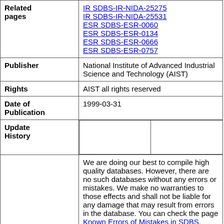| Field | Value |
| --- | --- |
| Related pages | IR SDBS-IR-NIDA-25275
IR SDBS-IR-NIDA-25531
ESR SDBS-ESR-0060
ESR SDBS-ESR-0134
ESR SDBS-ESR-0666
ESR SDBS-ESR-0757 |
| Publisher | National Institute of Advanced Industrial Science and Technology (AIST) |
| Rights | AIST all rights reserved |
| Date of Publication | 1999-03-31 |
| Update History |  |
|  | We are doing our best to compile high quality databases. However, there are no such databases without any errors or mistakes. We make no warranties to those effects and shall not be liable for any damage that may result from errors in the database. You can check the page Known Errors of Mistakes in SDBS. When you find new errors or mistakes, please inform us using email (see this page for contact details). |